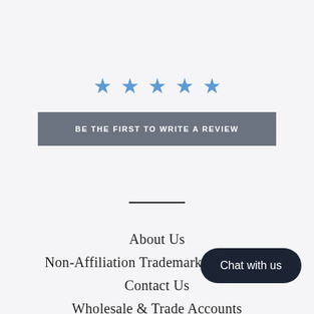[Figure (other): Five blue star rating icons displayed in a row, indicating a 5-star review prompt]
BE THE FIRST TO WRITE A REVIEW
[Figure (other): Horizontal divider line]
About Us
Non-Affiliation Trademark Disclaimer
Contact Us
Wholesale & Trade Accounts
Chat with us